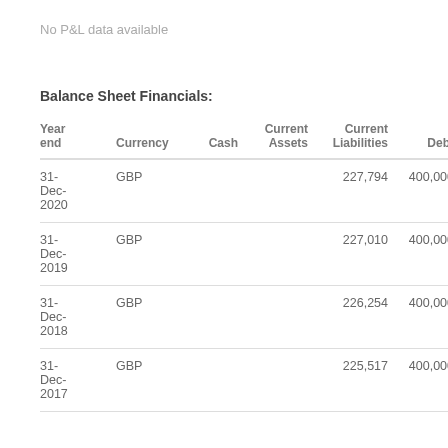No P&L data available
Balance Sheet Financials:
| Year end | Currency | Cash | Current Assets | Current Liabilities | Debt |
| --- | --- | --- | --- | --- | --- |
| 31-Dec-2020 | GBP |  |  | 227,794 | 400,000 |
| 31-Dec-2019 | GBP |  |  | 227,010 | 400,000 |
| 31-Dec-2018 | GBP |  |  | 226,254 | 400,000 |
| 31-Dec-2017 | GBP |  |  | 225,517 | 400,000 |